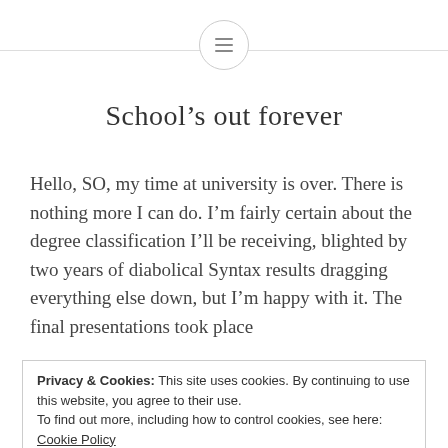[menu icon with horizontal lines in circle]
School’s out forever
Hello, SO, my time at university is over. There is nothing more I can do. I’m fairly certain about the degree classification I’ll be receiving, blighted by two years of diabolical Syntax results dragging everything else down, but I’m happy with it. The final presentations took place
Privacy & Cookies: This site uses cookies. By continuing to use this website, you agree to their use.
To find out more, including how to control cookies, see here: Cookie Policy

Close and accept